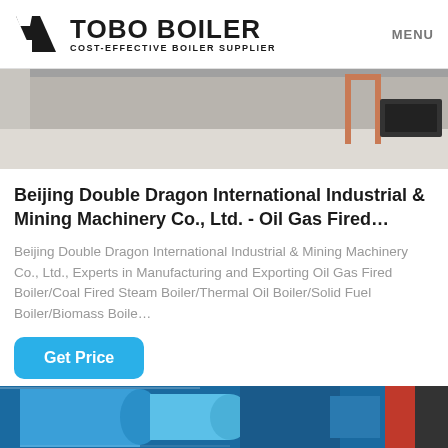TOBO BOILER - COST-EFFECTIVE BOILER SUPPLIER | MENU
[Figure (photo): Partial view of boiler equipment on a grey floor, with copper/red piping visible on the right side and a dark rectangular device.]
Beijing Double Dragon International Industrial & Mining Machinery Co., Ltd. - Oil Gas Fired…
Beijing Double Dragon International Industrial & Mining Machinery Co., Ltd., Experts in Manufacturing and Exporting Oil Gas Fired Boiler/Coal Fired Steam Boiler/Thermal Oil Boiler/Solid Fuel Boiler/Biomass Boile…
[Figure (photo): Bottom partial view of blue industrial boiler equipment.]